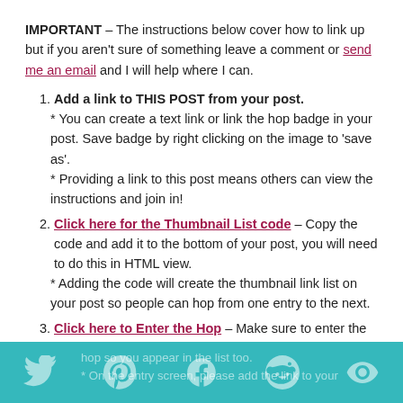IMPORTANT – The instructions below cover how to link up but if you aren't sure of something leave a comment or send me an email and I will help where I can.
Add a link to THIS POST from your post. * You can create a text link or link the hop badge in your post. Save badge by right clicking on the image to 'save as'. * Providing a link to this post means others can view the instructions and join in!
Click here for the Thumbnail List code – Copy the code and add it to the bottom of your post, you will need to do this in HTML view. * Adding the code will create the thumbnail link list on your post so people can hop from one entry to the next.
Click here to Enter the Hop – Make sure to enter the hop so you appear in the list too. * On the entry screen, please add the link to your
hop so you appear in the list too. * On the entry screen, please add the link to your